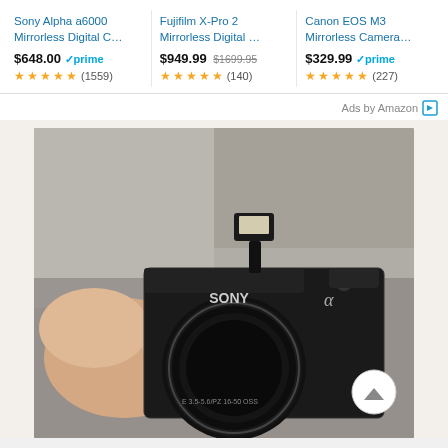[Figure (screenshot): Amazon ad banner with three mirrorless camera products: Sony Alpha a6000 ($648.00, prime, 4.5 stars, 1559 reviews), Fujifilm X-Pro 2 ($949.99 / $1699.95 strikethrough, 5 stars, 140 reviews), Canon EOS M3 ($329.99, prime, 4.5 stars, 227 reviews). 'Ads by Amazon' label with arrow icon at bottom right.]
[Figure (photo): Close-up photo of a Sony Alpha mirrorless camera (black) with 'E 3.5-5.6/PZ 16-50 OSS' lens, flash attachment raised, held in a person's hand. 'SONY' and 'α' branding visible on the camera body.]